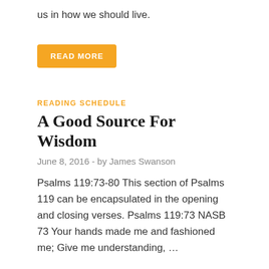us in how we should live.
READ MORE
READING SCHEDULE
A Good Source For Wisdom
June 8, 2016  -  by James Swanson
Psalms 119:73-80 This section of Psalms 119 can be encapsulated in the opening and closing verses. Psalms 119:73 NASB 73 Your hands made me and fashioned me; Give me understanding, …
READ MORE
READING SCHEDULE
Affliction Reminds Us of the Goodness of